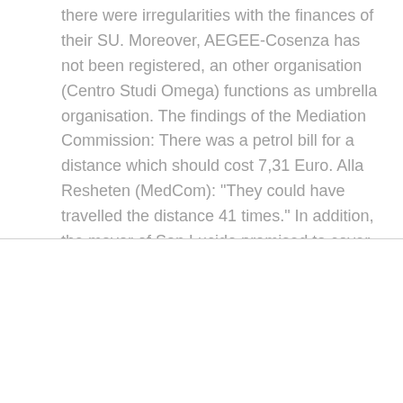there were irregularities with the finances of their SU. Moreover, AEGEE-Cosenza has not been registered, an other organisation (Centro Studi Omega) functions as umbrella organisation. The findings of the Mediation Commission: There was a petrol bill for a distance which should cost 7,31 Euro. Alla Resheten (MedCom): "They could have travelled the distance 41 times." In addition, the mayor of San Lucido promised to cover transportation costs. Nevertheless, the antenna claimed to have spent 1750 Euro. The Mediation Commission
We use cookies on our website to give you the most relevant experience by remembering your preferences and repeat visits. By clicking "Accept All", you consent to the use of ALL the cookies. However, you may visit "Cookie Settings" to provide a controlled consent.
Cookie Settings
Accept All